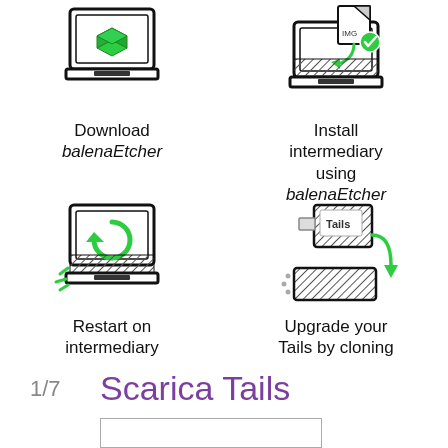[Figure (illustration): Laptop with green 3D box icon - Download balenaEtcher step]
Download balenaEtcher
[Figure (illustration): Laptop with IMG file download icon - Install intermediary using balenaEtcher step]
Install intermediary using balenaEtcher
[Figure (illustration): Laptop with green refresh/restart icon and hatched USB - Restart on intermediary step]
Restart on intermediary
[Figure (illustration): USB drive with Tails label and arrow pointing to another USB - Upgrade your Tails by cloning step]
Upgrade your Tails by cloning
1/7
Scarica Tails